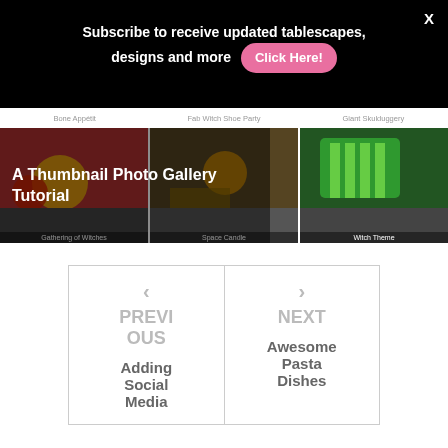Subscribe to receive updated tablescapes, designs and more
Click Here!
X
[Figure (photo): Thumbnail photo gallery strip showing three photos with labels: Bone Appétit, Fab Witch Shoe Party, Giant Skulduggery (top row), and Gathering of Witches, Space Candle, Witch Theme (bottom row). Overlay text reads: A Thumbnail Photo Gallery Tutorial]
PREVIOUS
Adding Social Media
NEXT
Awesome Pasta Dishes